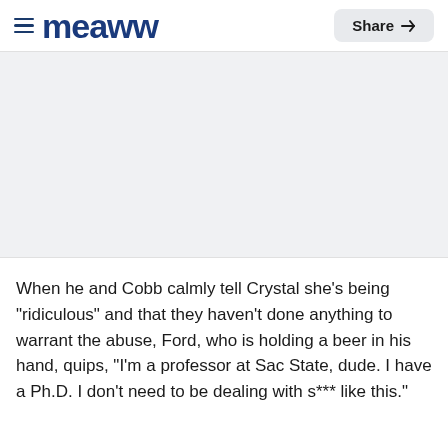≡ Meaww  Share
[Figure (other): Gray placeholder image area]
When he and Cobb calmly tell Crystal she's being "ridiculous" and that they haven't done anything to warrant the abuse, Ford, who is holding a beer in his hand, quips, "I'm a professor at Sac State, dude. I have a Ph.D. I don't need to be dealing with s*** like this."